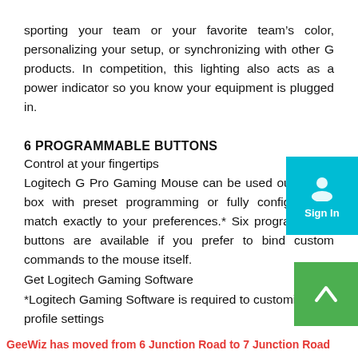sporting your team or your favorite team's color, personalizing your setup, or synchronizing with other G products. In competition, this lighting also acts as a power indicator so you know your equipment is plugged in.
6 PROGRAMMABLE BUTTONS
Control at your fingertips
Logitech G Pro Gaming Mouse can be used out-of-the-box with preset programming or fully configured to match exactly to your preferences.* Six programmable buttons are available if you prefer to bind custom commands to the mouse itself.
Get Logitech Gaming Software
*Logitech Gaming Software is required to customize profile settings
GeeWiz has moved from 6 Junction Road to 7 Junction Road